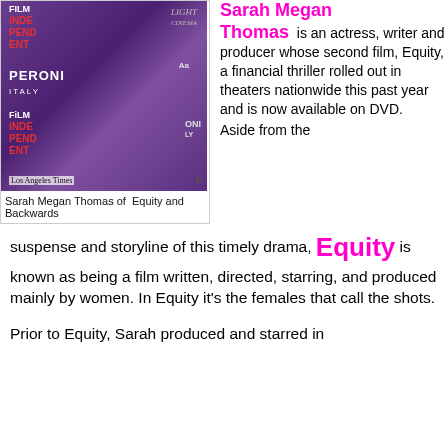[Figure (photo): Sarah Megan Thomas posing on red carpet in purple dress, with Film Independent and Peroni Italy logos visible, Los Angeles Times watermark at bottom]
Sarah Megan Thomas of  Equity and Backwards
Sarah Megan Thomas is an actress, writer and producer whose second film, Equity, a financial thriller rolled out in theaters nationwide this past year and is now available on DVD.
Aside from the suspense and storyline of this timely drama, Equity is known as being a film written, directed, starring, and produced mainly by women. In Equity it’s the females that call the shots.
Prior to Equity, Sarah produced and starred in